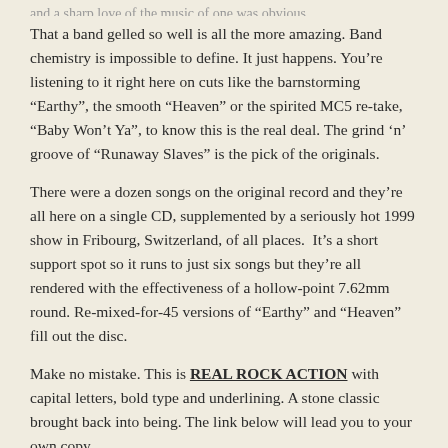and a sharp love of the music of one was obvious.
That a band gelled so well is all the more amazing. Band chemistry is impossible to define. It just happens. You’re listening to it right here on cuts like the barnstorming “Earthy”, the smooth “Heaven” or the spirited MC5 re-take, “Baby Won’t Ya”, to know this is the real deal. The grind ‘n’ groove of “Runaway Slaves” is the pick of the originals.
There were a dozen songs on the original record and they’re all here on a single CD, supplemented by a seriously hot 1999 show in Fribourg, Switzerland, of all places.  It’s a short support spot so it runs to just six songs but they’re all rendered with the effectiveness of a hollow-point 7.62mm round. Re-mixed-for-45 versions of “Earthy” and “Heaven” fill out the disc.
Make no mistake. This is REAL ROCK ACTION with capital letters, bold type and underlining. A stone classic brought back into being. The link below will lead you to your own copy.
[Figure (illustration): Five green beer bottles in a row, like a rating graphic]